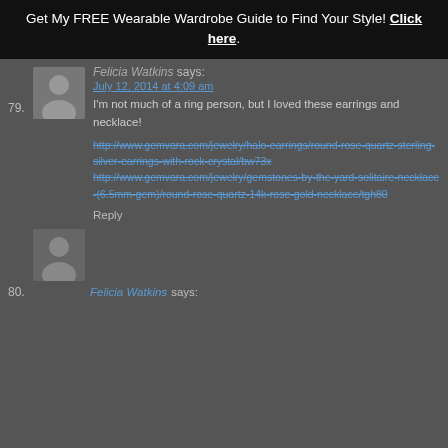Get My FREE Wearable Wardrobe Guide to Find Your Style! Click here.
79. Felicia Watkins says: July 12, 2014 at 4:09 am I'm not much of a ring person, but I loved these earrings and necklace! http://www.gemvara.com/jewelry/halo-earrings/round-rose-quartz-sterling-silver-earrings-with-rock-crystal/bw73x http://www.gemvara.com/jewelry/gemstones-by-the-yard-solitaire-necklace-(6.5mm-gem)/round-rose-quartz-14k-rose-gold-necklace/tgh80 Reply